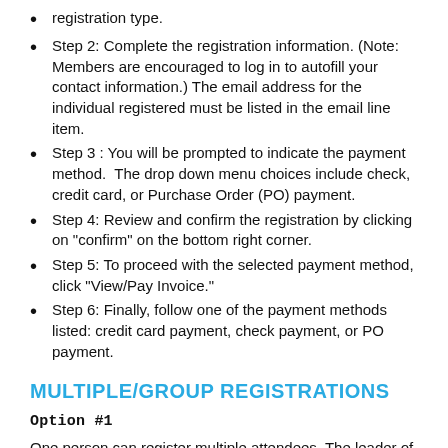registration type.
Step 2: Complete the registration information. (Note: Members are encouraged to log in to autofill your contact information.) The email address for the individual registered must be listed in the email line item.
Step 3 : You will be prompted to indicate the payment method.  The drop down menu choices include check, credit card, or Purchase Order (PO) payment.
Step 4: Review and confirm the registration by clicking on "confirm" on the bottom right corner.
Step 5: To proceed with the selected payment method, click "View/Pay Invoice."
Step 6: Finally, follow one of the payment methods listed: credit card payment, check payment, or PO payment.
MULTIPLE/GROUP REGISTRATIONS
Option #1
One person can register multiple attendees. The leader of the